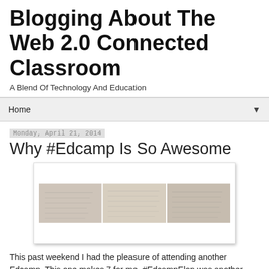Blogging About The Web 2.0 Connected Classroom
A Blend Of Technology And Education
Home
Monday, April 21, 2014
Why #Edcamp Is So Awesome
[Figure (photo): Three side-by-side photos showing handwritten notes or schedules on paper, likely from an Edcamp session board]
This past weekend I had the pleasure of attending another Edcamp. This one makes 7 for me. #EdcampElon was another event in a long like of teacher-driven professional